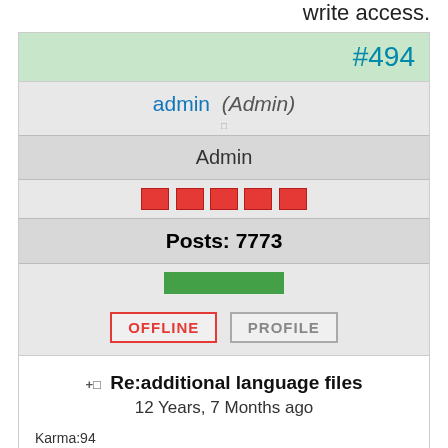write access.
#494
admin  (Admin)
Admin
[Figure (other): Five red star/badge icons in a row]
Posts: 7773
[Figure (other): Green progress/reputation bar]
OFFLINE   PROFILE
Re:additional language files
12 Years, 7 Months ago
Karma:94
Russian language for BookLibrary
Please check attachment